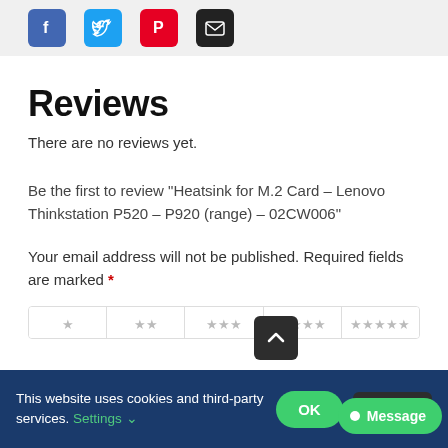[Figure (other): Social sharing icons: Facebook (blue), Twitter (light blue), Pinterest (red), Email (black)]
Reviews
There are no reviews yet.
Be the first to review “Heatsink for M.2 Card – Lenovo Thinkstation P520 – P920 (range) – 02CW006”
Your email address will not be published. Required fields are marked *
[Figure (other): Star rating row with 1 to 5 stars options]
This website uses cookies and third-party services. Settings ⌄